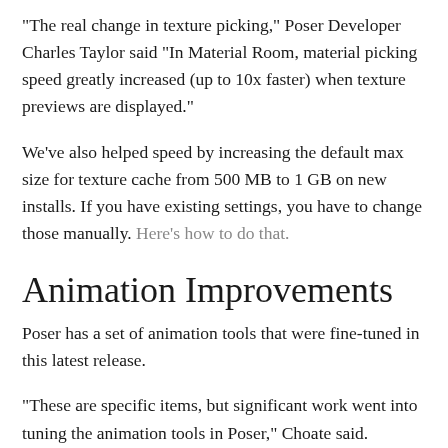"The real change in texture picking," Poser Developer Charles Taylor said "In Material Room, material picking speed greatly increased (up to 10x faster) when texture previews are displayed."
We've also helped speed by increasing the default max size for texture cache from 500 MB to 1 GB on new installs. If you have existing settings, you have to change those manually. Here's how to do that.
Animation Improvements
Poser has a set of animation tools that were fine-tuned in this latest release.
"These are specific items, but significant work went into tuning the animation tools in Poser," Choate said.